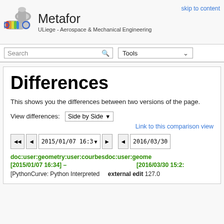Metafor — ULiege - Aerospace & Mechanical Engineering | skip to content
Search | Tools
Differences
This shows you the differences between two versions of the page.
View differences: Side by Side ▾
Link to this comparison view
◀◀  ◀  2015/01/07 16:3 ▾  ▶    ◀  2016/03/30
doc:user:geometry:user:courbesdoc:user:geome [2015/01/07 16:34] –  [2016/03/30 15:2:
[PythonCurve: Python Interpreted  external edit 127.0